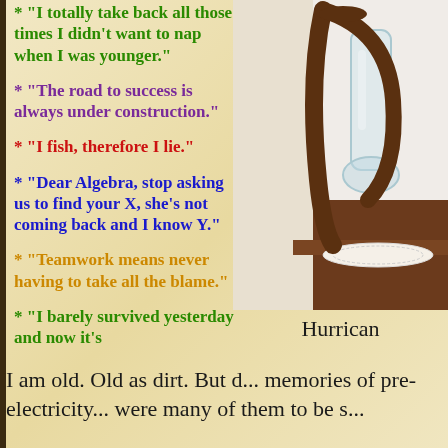* "I totally take back all those times I didn't want to nap when I was younger."
* "The road to success is always under construction."
* "I fish, therefore I lie."
* "Dear Algebra, stop asking us to find your X, she's not coming back and I know Y."
* "Teamwork means never having to take all the blame."
* "I barely survived yesterday and now it's..."
[Figure (photo): A hurricane lamp / oil lamp with wooden base on a wooden surface with a white lace doily, photographed against a light background.]
Hurrican
I am old. Old as dirt. But d... memories of pre-electricity... were many of them to be s...